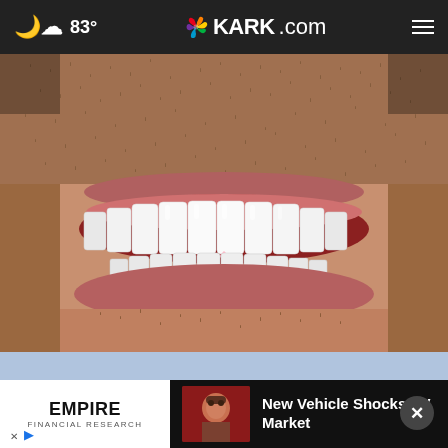83° KARK.com
[Figure (photo): Close-up photo of a man's smile showing very white, even dental implants/veneers, with stubble beard visible]
Here's What Full Mouth Dental Implants Should Cost You in 2022
Dental Implants | Search Ads
[Figure (screenshot): Advertisement banner: Empire Financial Research ad on left (white background), New Vehicle Shocks EV Market ad on right (dark background with thumbnail of man)]